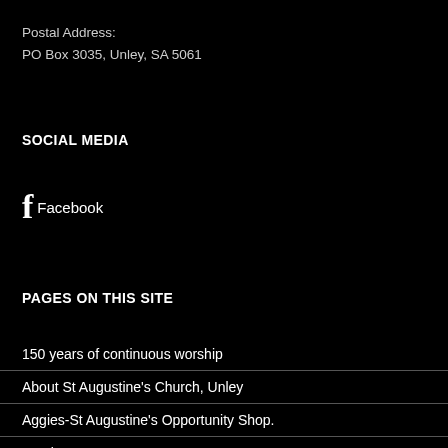Postal Address:
PO Box 3035, Unley, SA 5061
SOCIAL MEDIA
Facebook
PAGES ON THIS SITE
150 years of continuous worship
About St Augustine's Church, Unley
Aggies-St Augustine's Opportunity Shop.
Baptisms